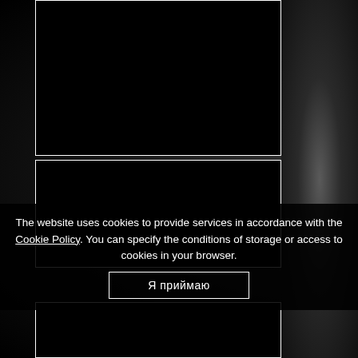[Figure (screenshot): Dark black rectangular panel, top video/content area with white border]
[Figure (screenshot): Dark black rectangular panel, middle video/content area with white border]
The website uses cookies to provide services in accordance with the Cookie Policy. You can specify the conditions of storage or access to cookies in your browser.
Я приймаю